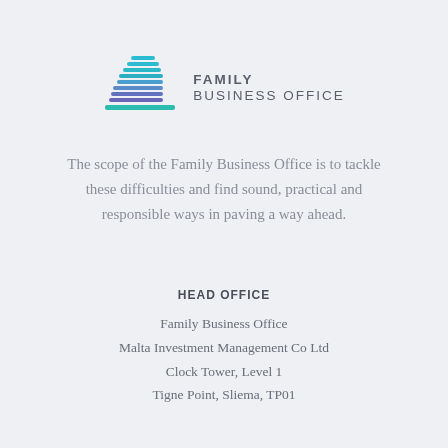[Figure (logo): Family Business Office logo — stacked horizontal bar shapes in teal and purple forming a tree/building silhouette, with text FAMILY BUSINESS OFFICE to the right]
The scope of the Family Business Office is to tackle these difficulties and find sound, practical and responsible ways in paving a way ahead.
HEAD OFFICE
Family Business Office
Malta Investment Management Co Ltd
Clock Tower, Level 1
Tigne Point, Sliema, TP01